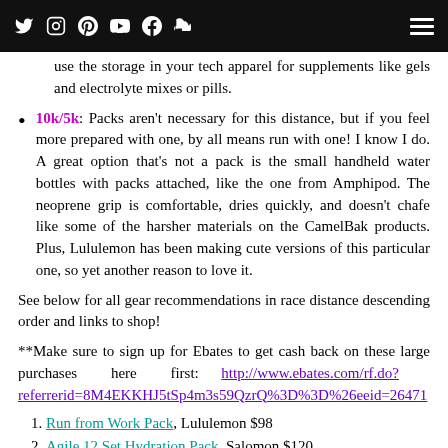Navigation bar with social icons and hamburger menu
use the storage in your tech apparel for supplements like gels and electrolyte mixes or pills.
10k/5k: Packs aren't necessary for this distance, but if you feel more prepared with one, by all means run with one! I know I do. A great option that's not a pack is the small handheld water bottles with packs attached, like the one from Amphipod. The neoprene grip is comfortable, dries quickly, and doesn't chafe like some of the harsher materials on the CamelBak products. Plus, Lululemon has been making cute versions of this particular one, so yet another reason to love it.
See below for all gear recommendations in race distance descending order and links to shop!
**Make sure to sign up for Ebates to get cash back on these large purchases here first: http://www.ebates.com/rf.do?referrerid=8M4EKKHJ5tSp4m3s59QzrQ%3D%3D%26eeid=26471
Run from Work Pack, Lululemon $98
Agile 12 Set Hydration Pack, Salomon $120